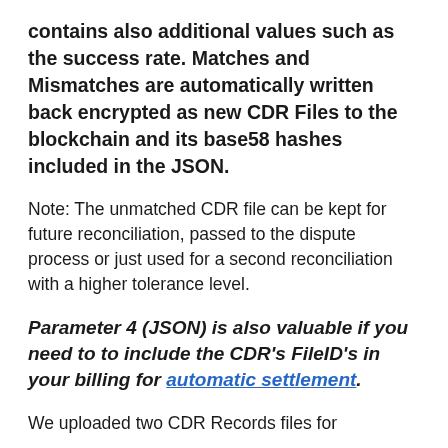contains also additional values such as the success rate. Matches and Mismatches are automatically written back encrypted as new CDR Files to the blockchain and its base58 hashes included in the JSON.
Note: The unmatched CDR file can be kept for future reconciliation, passed to the dispute process or just used for a second reconciliation with a higher tolerance level.
Parameter 4 (JSON) is also valuable if you need to to include the CDR's FileID's in your billing for automatic settlement.
We uploaded two CDR Records files for